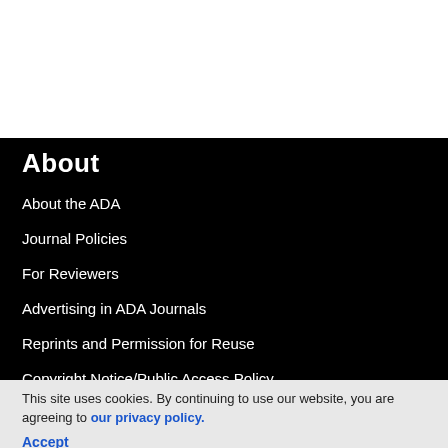About
About the ADA
Journal Policies
For Reviewers
Advertising in ADA Journals
Reprints and Permission for Reuse
Copyright Notice/Public Access Policy
Resources
ADA Professional Membership
This site uses cookies. By continuing to use our website, you are agreeing to our privacy policy. Accept